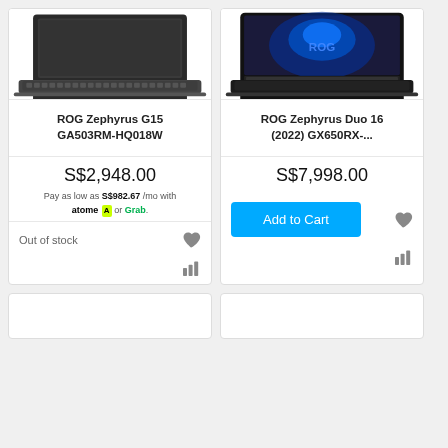[Figure (photo): ROG Zephyrus G15 laptop product photo, dark grey, open lid showing keyboard, top-down angle]
ROG Zephyrus G15 GA503RM-HQ018W
S$2,948.00
Pay as low as S$982.67 /mo with atome or Grab.
Out of stock
[Figure (photo): ROG Zephyrus Duo 16 laptop product photo, dark, open lid with dual screen, top-down angle]
ROG Zephyrus Duo 16 (2022) GX650RX-...
S$7,998.00
Add to Cart